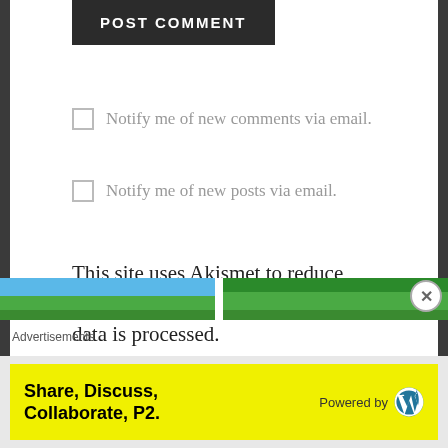POST COMMENT
Notify me of new comments via email.
Notify me of new posts via email.
This site uses Akismet to reduce spam. Learn how your comment data is processed.
[Figure (photo): Outdoor photos showing blue sky and green trees, partially visible at bottom of page]
Advertisements
Share, Discuss, Collaborate, P2. Powered by WordPress